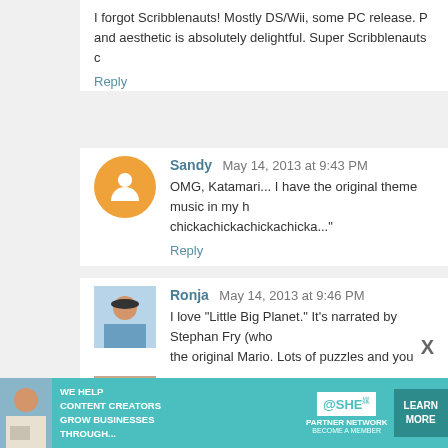I forgot Scribblenauts! Mostly DS/Wii, some PC release. P and aesthetic is absolutely delightful. Super Scribblenauts c
Reply
Sandy May 14, 2013 at 9:43 PM
OMG, Katamari... I have the original theme music in my h chickachickachickachicka..."
Reply
Ronja May 14, 2013 at 9:46 PM
I love "Little Big Planet." It's narrated by Stephan Fry (who the original Mario. Lots of puzzles and you can build your ov
Reply
Violet von Mickelsburg May 14, 2013 at 10:10 PM
Well it seems by your comments on Siberia that you're rul game. They are usually entirely story driven and vary rare recent games I've played have been indie games wit get past the pixels, I highly, highly recommend the c
[Figure (infographic): Advertisement banner for SHE Media Partner Network with teal background, showing a woman with a laptop, text 'WE HELP CONTENT CREATORS GROW BUSINESSES THROUGH...' and a LEARN MORE button]